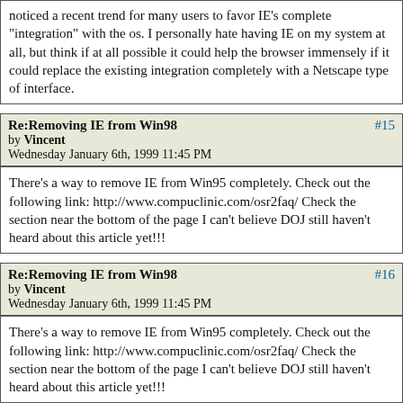noticed a recent trend for many users to favor IE's complete "integration" with the os. I personally hate having IE on my system at all, but think if at all possible it could help the browser immensely if it could replace the existing integration completely with a Netscape type of interface.
Re:Removing IE from Win98 #15 by Vincent Wednesday January 6th, 1999 11:45 PM
There's a way to remove IE from Win95 completely. Check out the following link: http://www.compuclinic.com/osr2faq/ Check the section near the bottom of the page I can't believe DOJ still haven't heard about this article yet!!!
Re:Removing IE from Win98 #16 by Vincent Wednesday January 6th, 1999 11:45 PM
There's a way to remove IE from Win95 completely. Check out the following link: http://www.compuclinic.com/osr2faq/ Check the section near the bottom of the page I can't believe DOJ still haven't heard about this article yet!!!
Re: Removing IE from Win98 #17 by basic Sunday January 10th, 1999 11:44 AM
The problem is related to IE4 not IE3 and Win98 is the focus pa...